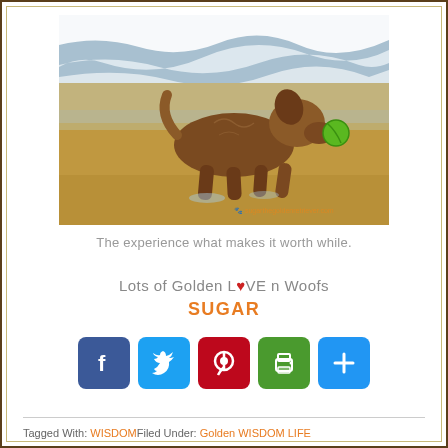[Figure (photo): A golden retriever dog running on a sandy beach through shallow ocean waves, carrying a green ball in its mouth. Watermark reads: sugarthegoldenretriever.com]
The experience what makes it worth while.
Lots of Golden L♥VE n Woofs
SUGAR
[Figure (infographic): Social sharing buttons: Facebook, Twitter, Pinterest, Print, Plus/Share]
Tagged With: WISDOMFiled Under: Golden WISDOM LIFE